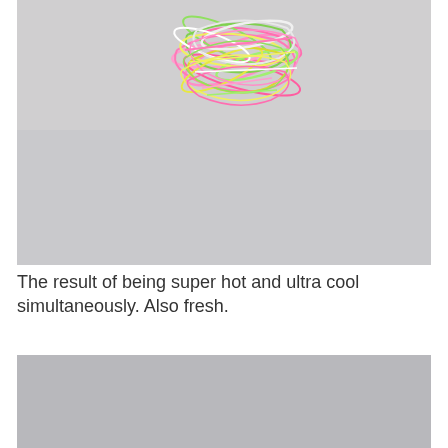[Figure (photo): A pile of colorful rubber bands (pink, green, yellow, white) tangled together on a light gray background surface]
The result of being super hot and ultra cool simultaneously. Also fresh.
[Figure (photo): A partially visible second photo showing a plain gray surface, cropped at the bottom of the page]